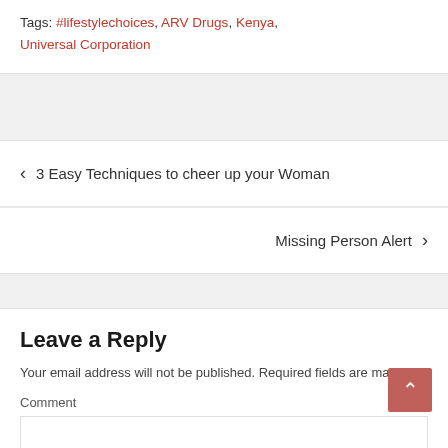Tags: #lifestylechoices, ARV Drugs, Kenya, Universal Corporation
< 3 Easy Techniques to cheer up your Woman
Missing Person Alert >
Leave a Reply
Your email address will not be published. Required fields are marked *
Comment